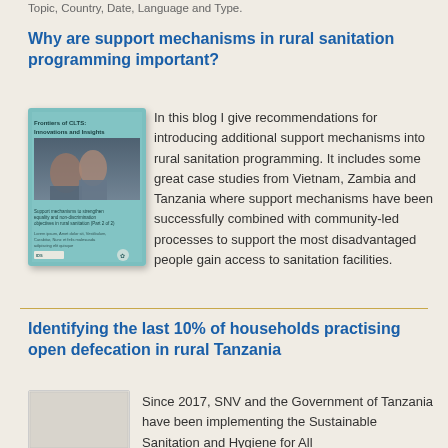Topic, Country, Date, Language and Type.
Why are support mechanisms in rural sanitation programming important?
[Figure (photo): Book cover: 'Frontiers of CLTS: Innovations and Insights' — Support mechanisms to strengthen equality and non-discrimination objectives in rural sanitation (Part 2 of 2)]
In this blog I give recommendations for introducing additional support mechanisms into rural sanitation programming. It includes some great case studies from Vietnam, Zambia and Tanzania where support mechanisms have been successfully combined with community-led processes to support the most disadvantaged people gain access to sanitation facilities.
Identifying the last 10% of households practising open defecation in rural Tanzania
[Figure (photo): Thumbnail image placeholder for the Tanzania article]
Since 2017, SNV and the Government of Tanzania have been implementing the Sustainable Sanitation and Hygiene for All